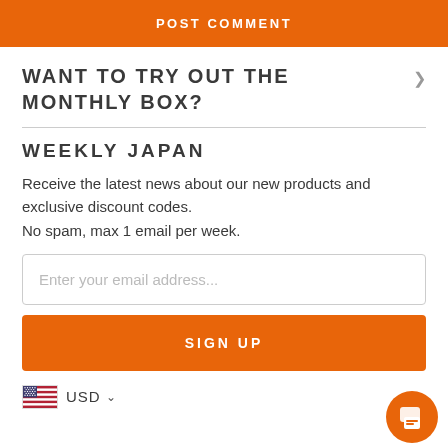POST COMMENT
WANT TO TRY OUT THE MONTHLY BOX?
WEEKLY JAPAN
Receive the latest news about our new products and exclusive discount codes.
No spam, max 1 email per week.
Enter your email address...
SIGN UP
USD